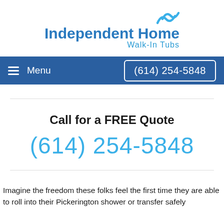[Figure (logo): Independent Home Walk-In Tubs logo with blue wave icon and blue text]
≡ Menu   (614) 254-5848
Call for a FREE Quote
(614) 254-5848
Imagine the freedom these folks feel the first time they are able to roll into their Pickerington shower or transfer safely